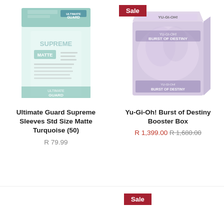[Figure (photo): Ultimate Guard Supreme Sleeves product image showing card sleeve packaging in turquoise/mint color with 'SUPREME' and 'MATTE' labels, Ultimate Guard branding]
[Figure (photo): Yu-Gi-Oh! Burst of Destiny Booster Box product image showing a purple/lavender booster box with game artwork, with a red 'Sale' badge in top-left]
Ultimate Guard Supreme Sleeves Std Size Matte Turquoise (50)
R 79.99
Yu-Gi-Oh! Burst of Destiny Booster Box
R 1,399.00 R 1,680.00
[Figure (other): Sale badge (red rectangle with white 'Sale' text) in the bottom-right quadrant]